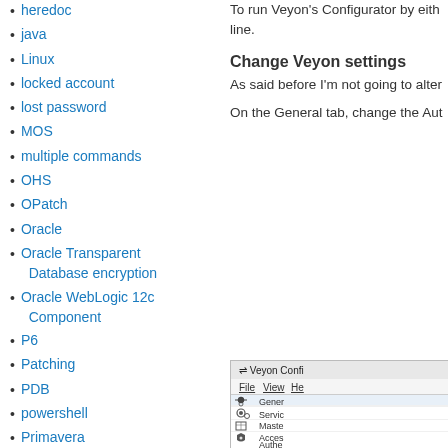heredoc
java
Linux
locked account
lost password
MOS
multiple commands
OHS
OPatch
Oracle
Oracle Transparent Database encryption
Oracle WebLogic 12c Component
P6
Patching
PDB
powershell
Primavera
proxy authentication
sqlplus
SSH
ssh-agent
To run Veyon's Configurator by either the GUI or the command line.
Change Veyon settings
As said before I'm not going to alter
On the General tab, change the Aut
[Figure (screenshot): Partial screenshot of Veyon Configurator window showing the title bar, menu bar with File, View, Help, and sidebar items: General, Service, Master, Access, Authentication, Location]